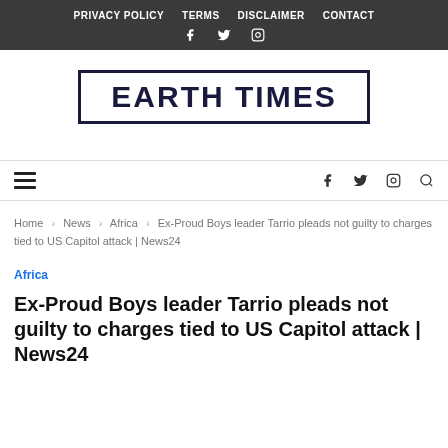PRIVACY POLICY   TERMS   DISCLAIMER   CONTACT
EARTH TIMES
Home > News > Africa > Ex-Proud Boys leader Tarrio pleads not guilty to charges tied to US Capitol attack | News24
Africa
Ex-Proud Boys leader Tarrio pleads not guilty to charges tied to US Capitol attack | News24